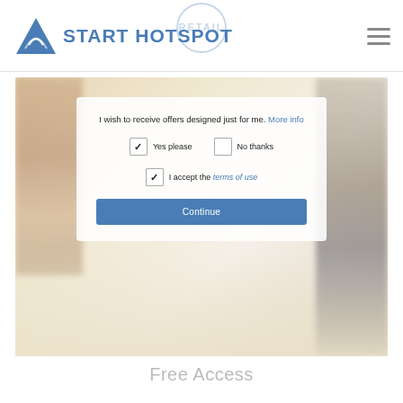[Figure (logo): Start Hotspot logo with blue triangle/wifi icon and blue text 'START HOTSPOT', with a faint circular 'RETAIL' badge behind it]
[Figure (screenshot): A blurred retail store background with a semi-transparent white overlay card showing: text 'I wish to receive offers designed just for me. More info', a checked checkbox labeled 'Yes please', an unchecked checkbox labeled 'No thanks', a checked checkbox with 'I accept the terms of use', and a blue 'Continue' button]
Free Access